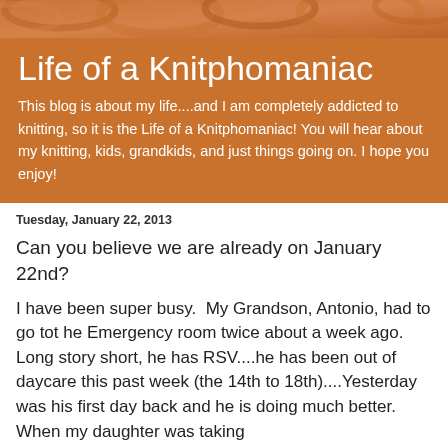[Figure (illustration): Decorative orange/brown swirling fabric or textile pattern banner at the top of the page]
Life of a Knitphomaniac
This blog is about my life....and I am completely addicted to knitting, so it is the Life of a Knitphomaniac! You will hear about my knitting, kids, grandkids, and just things going on. I hope you enjoy!
Tuesday, January 22, 2013
Can you believe we are already on January 22nd?
I have been super busy.  My Grandson, Antonio, had to go tot he Emergency room twice about a week ago.  Long story short, he has RSV....he has been out of daycare this past week (the 14th to 18th)....Yesterday was his first day back and he is doing much better.  When my daughter was taking